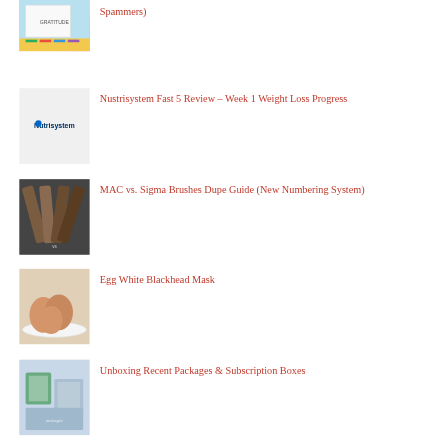Spammers)
Nustrisystem Fast 5 Review – Week 1 Weight Loss Progress
MAC vs. Sigma Brushes Dupe Guide (New Numbering System)
Egg White Blackhead Mask
Unboxing Recent Packages & Subscription Boxes